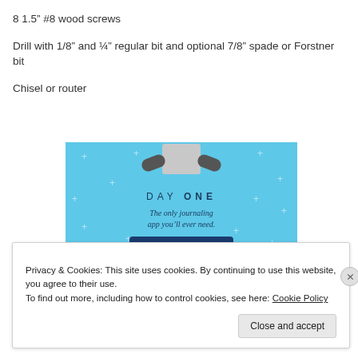8 1.5” #8 wood screws
Drill with 1/8” and ¼” regular bit and optional 7/8” spade or Forstner bit
Chisel or router
[Figure (illustration): Blue advertisement banner for Day One journaling app. Shows hands holding a box at top, text 'DAY ONE' and 'The only journaling app you’ll ever need.' with a dark button below.]
Privacy & Cookies: This site uses cookies. By continuing to use this website, you agree to their use.
To find out more, including how to control cookies, see here: Cookie Policy
Close and accept